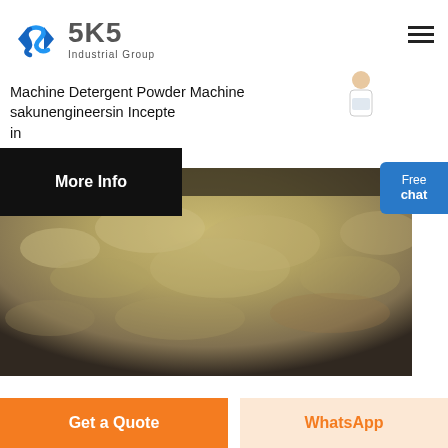[Figure (logo): SKS Industrial Group logo with blue angular S-shaped icon and gray bold text 'SKS Industrial Group']
Machine Detergent Powder Machine sakunengineersin Incepte in
[Figure (other): Customer service representative person icon next to a blue 'Free chat' button]
[Figure (photo): Black banner with white bold text 'More Info']
[Figure (photo): Close-up photo of gray/beige detergent powder pile]
Get a Quote
WhatsApp